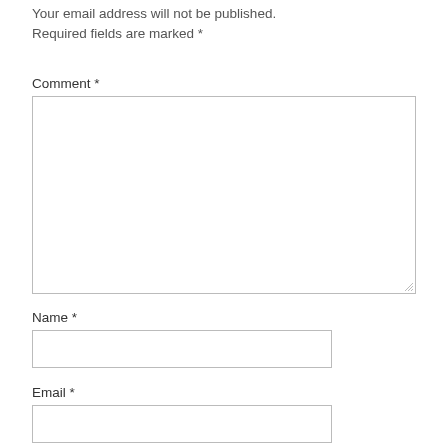Your email address will not be published. Required fields are marked *
Comment *
[Figure (screenshot): Large empty comment textarea input box with resize handle in bottom-right corner]
Name *
[Figure (screenshot): Single-line Name text input box]
Email *
[Figure (screenshot): Single-line Email text input box (partially visible)]